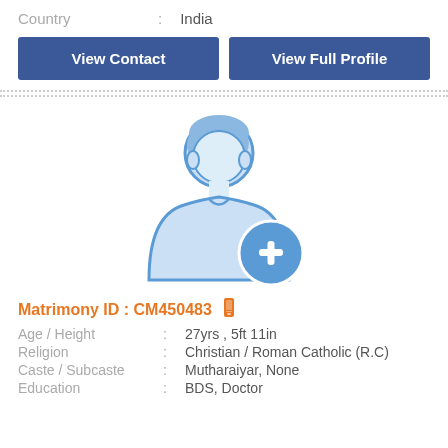Country : India
View Contact
View Full Profile
[Figure (illustration): Generic male profile avatar placeholder with a blue plus sign badge in the bottom right corner]
Matrimony ID : CM450483
Age / Height : 27yrs , 5ft 11in
Religion : Christian / Roman Catholic (R.C)
Caste / Subcaste : Mutharaiyar, None
Education : BDS, Doctor